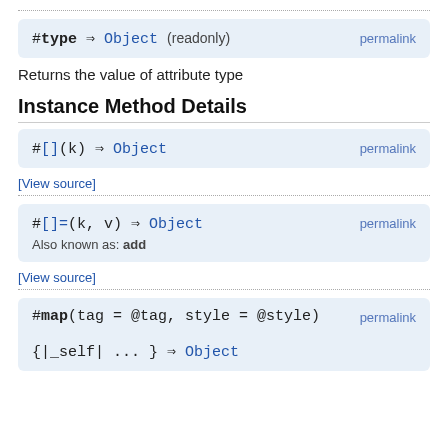[Figure (other): Method signature box: #type ⇒ Object (readonly) with permalink]
Returns the value of attribute type
Instance Method Details
[Figure (other): Method signature box: #[](k) ⇒ Object with permalink]
[View source]
[Figure (other): Method signature box: #[]=(k, v) ⇒ Object, Also known as: add, with permalink]
[View source]
[Figure (other): Method signature box: #map(tag = @tag, style = @style) {|_self| ... } ⇒ Object with permalink]